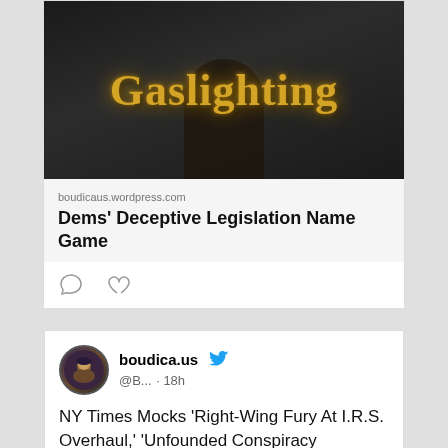[Figure (photo): Dark image with the word 'Gaslighting' overlaid in illuminated golden serif text, with a silhouetted figure below]
boudicaus.wordpress.com
Dems' Deceptive Legislation Name Game
[Figure (other): Comment and like icons (social media action buttons)]
boudica.us @B... · 18h
NY Times Mocks 'Right-Wing Fury At I.R.S. Overhaul,' 'Unfounded Conspiracy Theories' boudicaus.wordpress.com/2022/08/22/ny-...